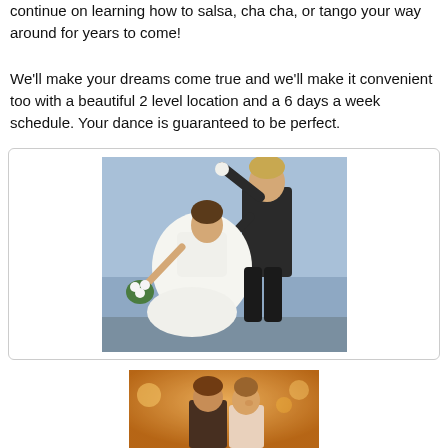continue on learning how to salsa, cha cha, or tango your way around for years to come!
We'll make your dreams come true and we'll make it convenient too with a beautiful 2 level location and a 6 days a week schedule. Your dance is guaranteed to be perfect.
[Figure (photo): Wedding couple dancing — groom in dark suit dipping bride in white dress with bouquet, blue sky background]
[Figure (photo): Wedding couple first dance at reception, warm golden lighting, bride and groom facing each other]